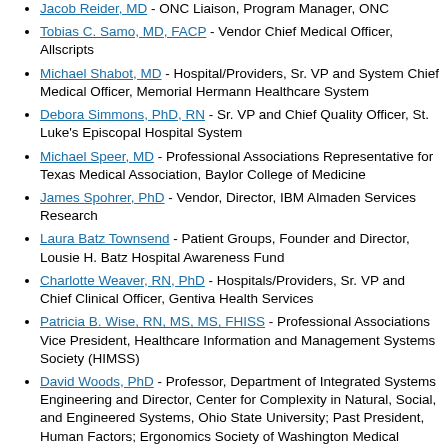Jacob Reider, MD - ONC Liaison, Program Manager, ONC
Tobias C. Samo, MD, FACP - Vendor Chief Medical Officer, Allscripts
Michael Shabot, MD - Hospital/Providers, Sr. VP and System Chief Medical Officer, Memorial Hermann Healthcare System
Debora Simmons, PhD, RN - Sr. VP and Chief Quality Officer, St. Luke's Episcopal Hospital System
Michael Speer, MD - Professional Associations Representative for Texas Medical Association, Baylor College of Medicine
James Spohrer, PhD - Vendor, Director, IBM Almaden Services Research
Laura Batz Townsend - Patient Groups, Founder and Director, Lousie H. Batz Hospital Awareness Fund
Charlotte Weaver, RN, PhD - Hospitals/Providers, Sr. VP and Chief Clinical Officer, Gentiva Health Services
Patricia B. Wise, RN, MS, MS, FHISS - Professional Associations Vice President, Healthcare Information and Management Systems Society (HIMSS)
David Woods, PhD - Professor, Department of Integrated Systems Engineering and Director, Center for Complexity in Natural, Social, and Engineered Systems, Ohio State University; Past President, Human Factors; Ergonomics Society of Washington Medical Center
KEY PERSONNEL
Khalid Almoosa, MD - Associate Professor SBMI